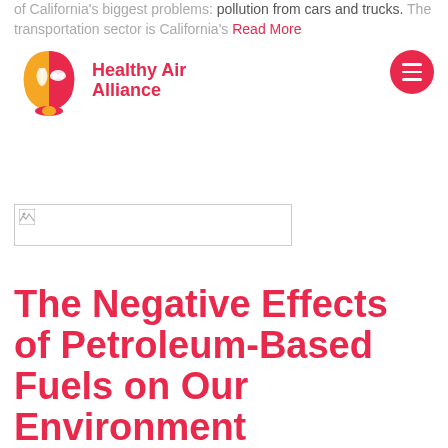of California's biggest problems: pollution from cars and trucks. The transportation sector is California's Read More
[Figure (logo): Healthy Air Alliance logo: two face silhouettes (orange and pink/red) with a leaf and cloud symbol, beside the text 'Healthy Air Alliance' in red/pink bold font]
[Figure (other): Hamburger menu button: pink/red circle with three white horizontal lines]
[Figure (photo): Broken image placeholder box with small broken image icon in top-left corner]
The Negative Effects of Petroleum-Based Fuels on Our Environment